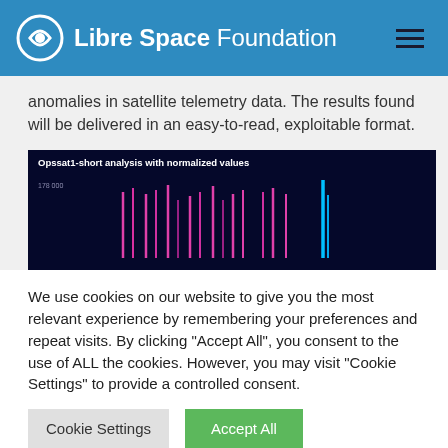Libre Space Foundation
anomalies in satellite telemetry data. The results found will be delivered in an easy-to-read, exploitable format.
[Figure (screenshot): Dark background chart titled 'Opssat1-short analysis with normalized values' showing vertical pink/magenta and blue spikes on a dark navy background, with a y-axis label showing values around 178000.]
We use cookies on our website to give you the most relevant experience by remembering your preferences and repeat visits. By clicking "Accept All", you consent to the use of ALL the cookies. However, you may visit "Cookie Settings" to provide a controlled consent.